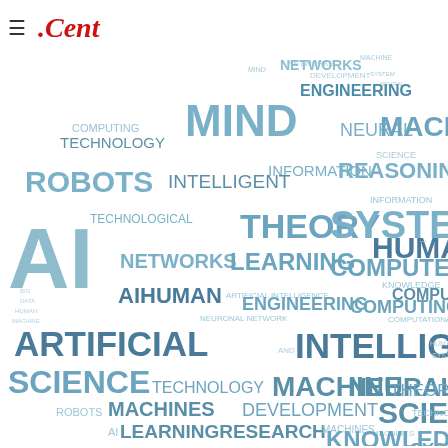[Figure (infographic): Word cloud centered on Artificial Intelligence and related terms. Large words include ARTIFICIAL INTELLIGENCE, AI, MIND, MACHINE, SYSTEM, HUMAN, ROBOTS, THEORY, LEARNING, COMPUTER, SCIENCE, NEURAL, SOFTWARE, PROBLEMS, RESEARCH. Medium words include NETWORKS, ENGINEERING, TECHNOLOGY, COMPUTING, INTELLIGENT, INFORMATION, REASONING, TECHNOLOGICAL, KNOWLEDGE, COMPUTATIONAL, DEVELOPMENT, MACHINES, AIHUMAN, LEARNINGRESEARCH. Small words include ROBOTS, MACHINE, NEURONAL NETWORK, SOFTWARE, THEORY, INTELLIGENT, and others. Colors range from dark steel blue to light blue.]